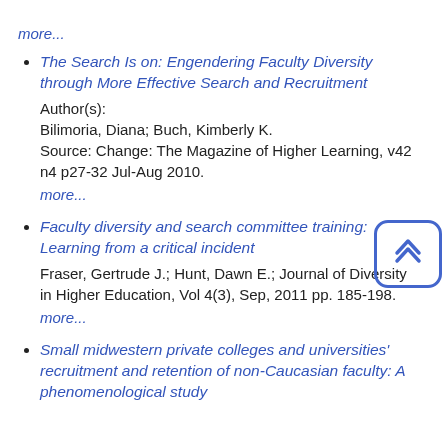more...
The Search Is on: Engendering Faculty Diversity through More Effective Search and Recruitment
Author(s):
Bilimoria, Diana; Buch, Kimberly K.
Source: Change: The Magazine of Higher Learning, v42 n4 p27-32 Jul-Aug 2010.
more...
Faculty diversity and search committee training: Learning from a critical incident
Fraser, Gertrude J.; Hunt, Dawn E.; Journal of Diversity in Higher Education, Vol 4(3), Sep, 2011 pp. 185-198.
more...
Small midwestern private colleges and universities' recruitment and retention of non-Caucasian faculty: A phenomenological study